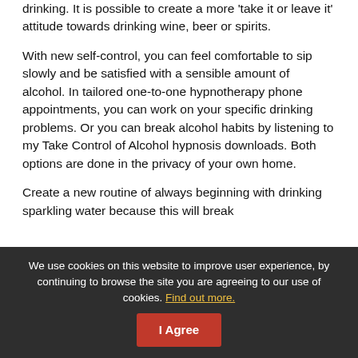drinking. It is possible to create a more 'take it or leave it' attitude towards drinking wine, beer or spirits.
With new self-control, you can feel comfortable to sip slowly and be satisfied with a sensible amount of alcohol. In tailored one-to-one hypnotherapy phone appointments, you can work on your specific drinking problems. Or you can break alcohol habits by listening to my Take Control of Alcohol hypnosis downloads. Both options are done in the privacy of your own home.
Create a new routine of always beginning with drinking sparkling water because this will break
We use cookies on this website to improve user experience, by continuing to browse the site you are agreeing to our use of cookies. Find out more.